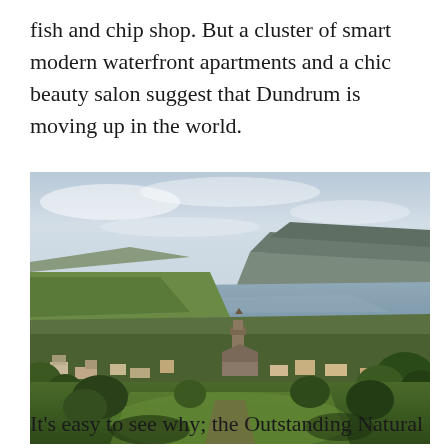fish and chip shop. But a cluster of smart modern waterfront apartments and a chic beauty salon suggest that Dundrum is moving up in the world.
[Figure (photo): Aerial landscape view of Dundrum, Ireland, showing a village with a church tower, surrounded by green fields and trees, with a bay or lough stretching into the distance and a large mountain in the background under a cloudy sky.]
It's easy to see why; the Outstanding Natural Beauty starts